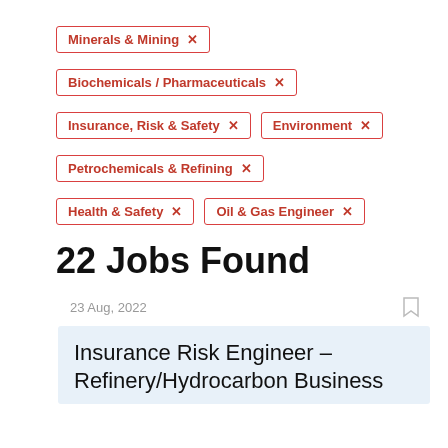Minerals & Mining ×
Biochemicals / Pharmaceuticals ×
Insurance, Risk & Safety ×
Environment ×
Petrochemicals & Refining ×
Health & Safety ×
Oil & Gas Engineer ×
22 Jobs Found
23 Aug, 2022
Insurance Risk Engineer – Refinery/Hydrocarbon Business